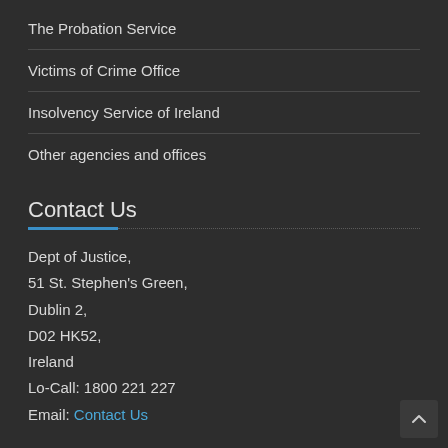The Probation Service
Victims of Crime Office
Insolvency Service of Ireland
Other agencies and offices
Contact Us
Dept of Justice,
51 St. Stephen's Green,
Dublin 2,
D02 HK52,
Ireland
Lo-Call: 1800 221 227
Email: Contact Us